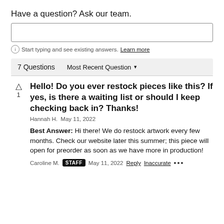Have a question? Ask our team.
Start typing and see existing answers. Learn more
7 Questions   Most Recent Question
Hello!  Do you ever restock pieces like this?  If yes, is there a waiting list or should I keep checking back in?  Thanks!
Hannah H.  May 11, 2022
Best Answer: Hi there! We do restock artwork every few months. Check our website later this summer; this piece will open for preorder as soon as we have more in production!
Caroline M.  STAFF  May 11, 2022  Reply  Inaccurate  ...